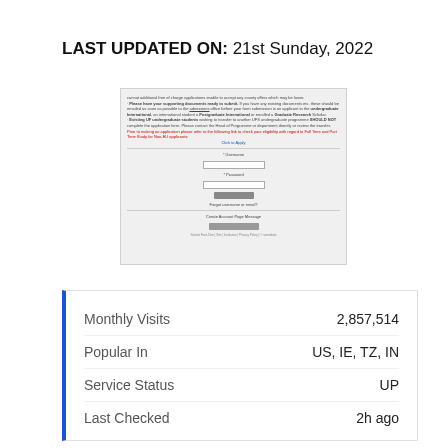LAST UPDATED ON: 21st Sunday, 2022
[Figure (screenshot): Screenshot of a website login/application page with text about supporting documents, undergraduate students, and links. Contains username and password fields, login button, and new account button.]
|  |  |
| --- | --- |
| Monthly Visits | 2,857,514 |
| Popular In | US, IE, TZ, IN |
| Service Status | UP |
| Last Checked | 2h ago |